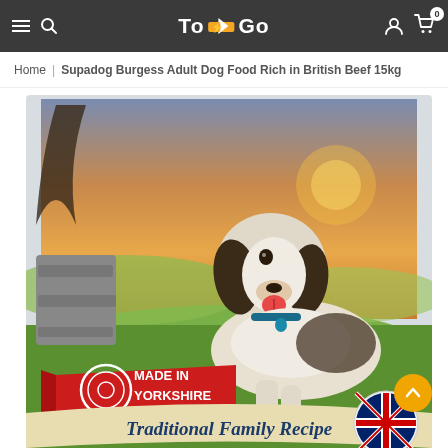To Go (navigation bar with hamburger, search, logo, account, cart icons)
Home | Supadog Burgess Adult Dog Food Rich in British Beef 15kg
[Figure (photo): Product photo of Burgess Supadog Adult Dog Food bag featuring a Springer Spaniel dog lying on Yorkshire countryside landscape at sunset. The bag shows 'MADE IN YORKSHIRE' red banner with a circular logo, 'Traditional Family Recipe' text at the bottom, and a British Family Union Jack badge. Background shows green hills, stone walls, and golden sky.]